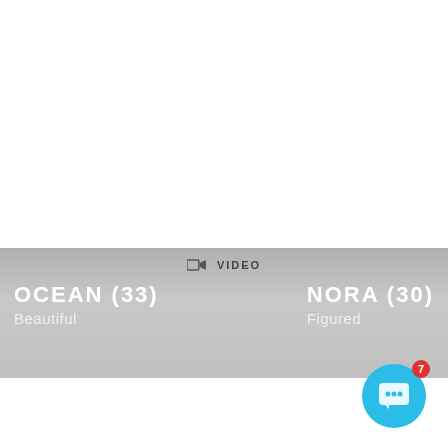[Figure (screenshot): Video call interface showing two participants: OCEAN (33) described as 'Beautiful' on the left, and NORA (30) described as 'Figured' on the right, with a video camera icon and VIDEO label at top center. A blue chat button with a badge showing 7 is in the bottom right.]
VIDEO
OCEAN (33)
Beautiful
NORA (30)
Figured